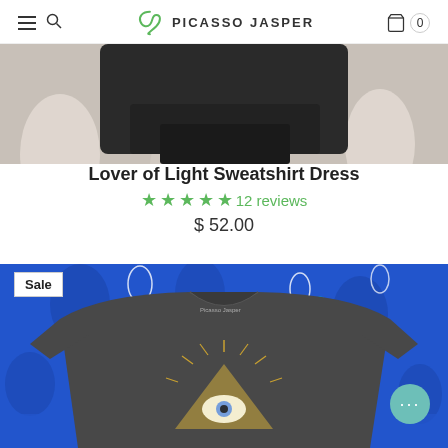PICASSO JASPER
[Figure (photo): Top portion of a product image showing a dark sweatshirt dress on a patterned background]
Lover of Light Sweatshirt Dress
★★★★★ 12 reviews
$ 52.00
[Figure (photo): Product photo of a dark grey t-shirt with an eye/triangle design on a blue paisley background, with a Sale badge]
Sale